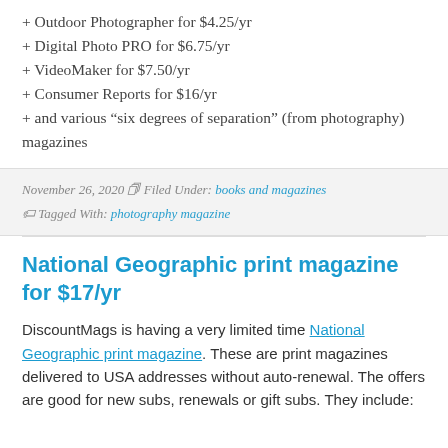+ Outdoor Photographer for $4.25/yr
+ Digital Photo PRO for $6.75/yr
+ VideoMaker for $7.50/yr
+ Consumer Reports for $16/yr
+ and various “six degrees of separation” (from photography) magazines
November 26, 2020  Filed Under: books and magazines  Tagged With: photography magazine
National Geographic print magazine for $17/yr
DiscountMags is having a very limited time National Geographic print magazine. These are print magazines delivered to USA addresses without auto-renewal. The offers are good for new subs, renewals or gift subs. They include: